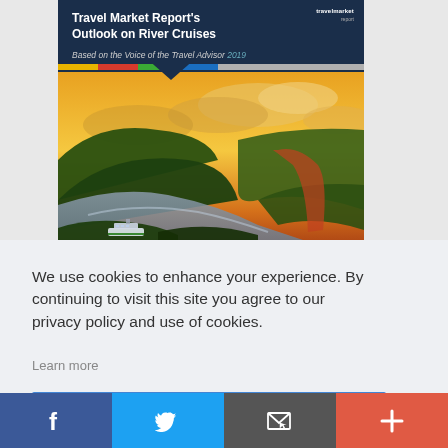[Figure (screenshot): Travel Market Report document cover showing river cruise photo with dark blue header. Title reads 'Travel Market Report's Outlook on River Cruises, Based on the Voice of the Travel Advisor 2019'. Aerial photograph of a winding river through lush green hillsides with golden sunset sky and a cruise ship visible on the river.]
We use cookies to enhance your experience. By continuing to visit this site you agree to our privacy policy and use of cookies.
Learn more
OK
[Figure (screenshot): Bottom social sharing bar with four buttons: Facebook (dark blue, f icon), Twitter (light blue, bird icon), Email/share (dark gray, envelope icon), More/plus (red-orange, + icon)]